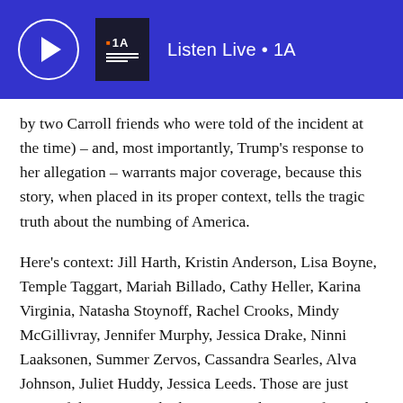Listen Live • 1A
by two Carroll friends who were told of the incident at the time) – and, most importantly, Trump's response to her allegation – warrants major coverage, because this story, when placed in its proper context, tells the tragic truth about the numbing of America.
Here's context: Jill Harth, Kristin Anderson, Lisa Boyne, Temple Taggart, Mariah Billado, Cathy Heller, Karina Virginia, Natasha Stoynoff, Rachel Crooks, Mindy McGillivray, Jennifer Murphy, Jessica Drake, Ninni Laaksonen, Summer Zervos, Cassandra Searles, Alva Johnson, Juliet Huddy, Jessica Leeds. Those are just some of the women who have accused Trump of sexual misconduct. That list does not include the beauty pageant women who said that Trump barged into their dressing